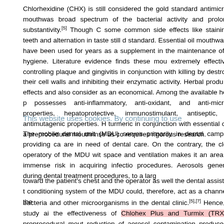Chlorhexidine (CHX) is still considered the gold standard antimicrobial mouthwas... broad spectrum of the bacterial activity and prolonged substantivity.[5] Though C... some common side effects like staining of teeth and alternation in taste still d... standard. Essential oil mouthwashes have been used for years as a supplement... in the maintenance of oral hygiene. Literature evidence finds these mou... extremely effective in controlling plaque and gingivitis in conjunction with killing... by destroying their cell walls and inhibiting their enzymatic activity. Herbal produ... side effects and also consider as an economical. Among the available herbal p... possesses anti-inflammatory, anti-oxidant, and anti-microbial properties,... hepatoprotective, immunostimulant, antiseptic, and antimutagenic properties. H... turmeric in conjunction with essential oil as a preprocedural mouthrinse as co... requires rigorous research.
This website uses cookies. By continuing to use
The mobile dental unit (MDU) serves primarily in dental camps by providing ca... are in need of dental care. On the contrary, the closed operatory of the MDU wit... space and ventilation makes it an area with immense risk in acquiring infectio... procedures. Aerosols generated during dental treatment procedures, to a larg...
toward the patient's chest and the operator as well the dental assistant's... conditioning system of the MDU could, therefore, act as a channel for the...
bacteria and other microorganisms in the dental clinic.[5],[7] Hence, this study ai... the effectiveness of Chlohex Plus and Turmix (TRX) as preprocedural mout... reduction of aerosol contamination produced by ultrasonic scaler inside the MDU...